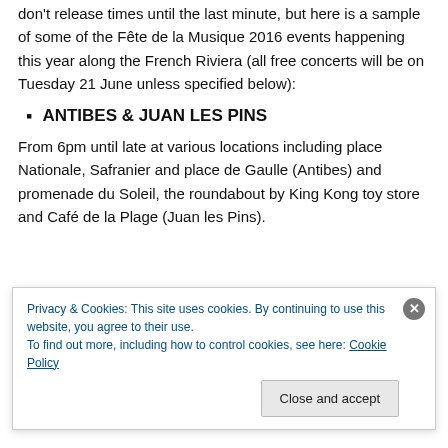don't release times until the last minute, but here is a sample of some of the Fête de la Musique 2016 events happening this year along the French Riviera (all free concerts will be on Tuesday 21 June unless specified below):
ANTIBES & JUAN LES PINS
From 6pm until late at various locations including place Nationale, Safranier and place de Gaulle (Antibes) and promenade du Soleil, the roundabout by King Kong toy store and Café de la Plage (Juan les Pins).
Privacy & Cookies: This site uses cookies. By continuing to use this website, you agree to their use.
To find out more, including how to control cookies, see here: Cookie Policy